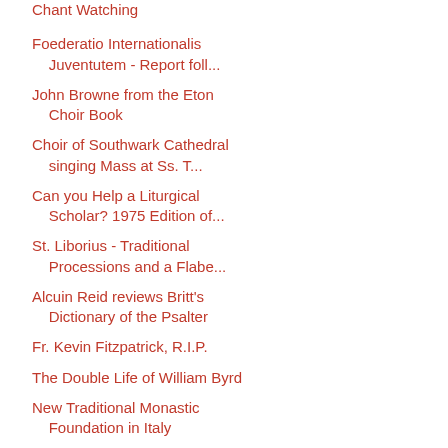Chant Watching
Foederatio Internationalis Juventutem - Report foll...
John Browne from the Eton Choir Book
Choir of Southwark Cathedral singing Mass at Ss. T...
Can you Help a Liturgical Scholar? 1975 Edition of...
St. Liborius - Traditional Processions and a Flabe...
Alcuin Reid reviews Britt's Dictionary of the Psalter
Fr. Kevin Fitzpatrick, R.I.P.
The Double Life of William Byrd
New Traditional Monastic Foundation in Italy
More from the recent ICRSS